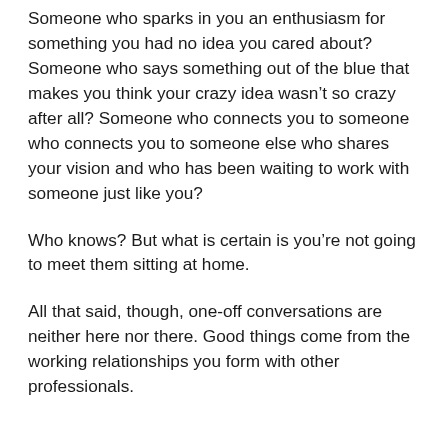Someone who sparks in you an enthusiasm for something you had no idea you cared about? Someone who says something out of the blue that makes you think your crazy idea wasn't so crazy after all? Someone who connects you to someone who connects you to someone else who shares your vision and who has been waiting to work with someone just like you?
Who knows? But what is certain is you're not going to meet them sitting at home.
All that said, though, one-off conversations are neither here nor there. Good things come from the working relationships you form with other professionals.